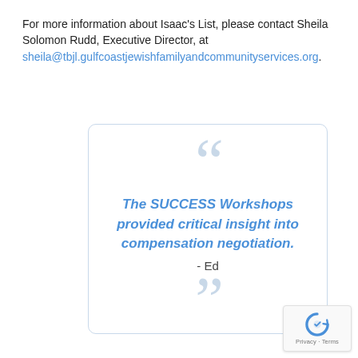For more information about Isaac's List, please contact Sheila Solomon Rudd, Executive Director, at sheila@tbjl.gulfcoastjewishfamilyandcommunityservices.org.
[Figure (other): A styled quote box with open and close quotation mark decorations, containing the quote: 'The SUCCESS Workshops provided critical insight into compensation negotiation. - Ed' in blue italic bold text on white background with light blue border.]